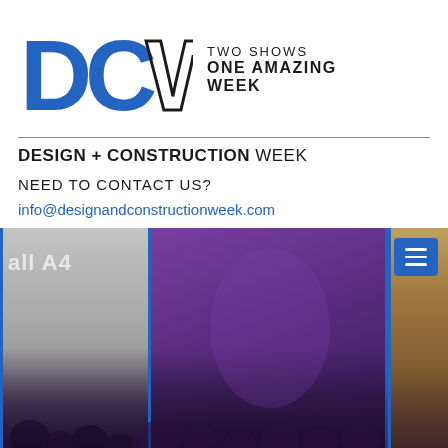[Figure (logo): DCW logo with large blue DC letters and outlined W, alongside text 'TWO SHOWS ONE AMAZING WEEK']
DESIGN + CONSTRUCTION WEEK
NEED TO CONTACT US?
info@designandconstructionweek.com
[Figure (photo): Aerial photo of KBIS trade show floor with crowd of people, purple illuminated pillars with KBIS branding, NHBA KBIS signage, and hall A4 sign visible. A hamburger menu icon is visible in the top right corner of the photo.]